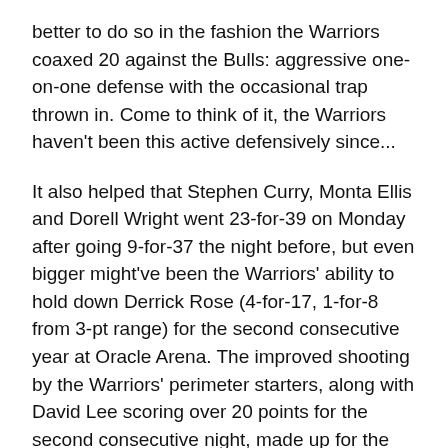better to do so in the fashion the Warriors coaxed 20 against the Bulls: aggressive one-on-one defense with the occasional trap thrown in. Come to think of it, the Warriors haven't been this active defensively since...
It also helped that Stephen Curry, Monta Ellis and Dorell Wright went 23-for-39 on Monday after going 9-for-37 the night before, but even bigger might've been the Warriors' ability to hold down Derrick Rose (4-for-17, 1-for-8 from 3-pt range) for the second consecutive year at Oracle Arena. The improved shooting by the Warriors' perimeter starters, along with David Lee scoring over 20 points for the second consecutive night, made up for the loss of Andris Biedrins (not literally, but he might as well have been inactive against Chicago after a surprisingly energetic and effective game against Los Angeles).
Speaking of players who might soon be inactive, Curry